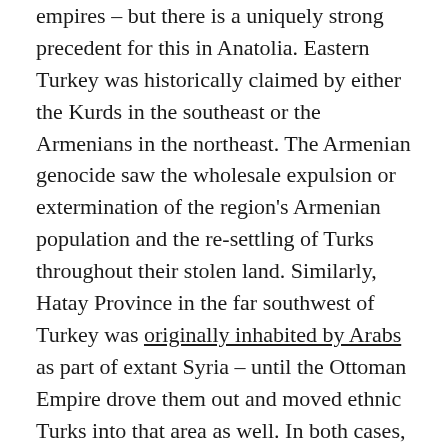empires – but there is a uniquely strong precedent for this in Anatolia. Eastern Turkey was historically claimed by either the Kurds in the southeast or the Armenians in the northeast. The Armenian genocide saw the wholesale expulsion or extermination of the region's Armenian population and the re-settling of Turks throughout their stolen land. Similarly, Hatay Province in the far southwest of Turkey was originally inhabited by Arabs as part of extant Syria – until the Ottoman Empire drove them out and moved ethnic Turks into that area as well. In both cases, the captured towns were rebranded with Turkish names and all memory of their former occupants aggressively disavowed.
(As a sidetone, the Kurds have openly recognized and apologized for their role as enforcers during